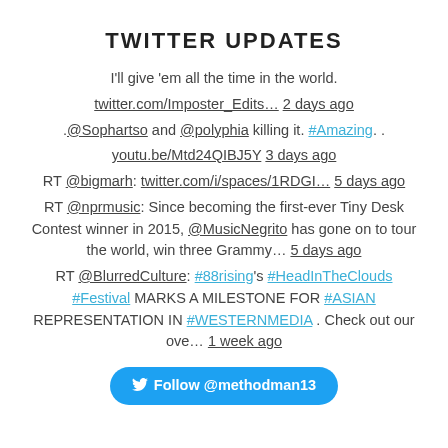TWITTER UPDATES
I'll give 'em all the time in the world.
twitter.com/Imposter_Edits… 2 days ago
.@Sophartso and @polyphia killing it. #Amazing. .
youtu.be/Mtd24QIBJ5Y 3 days ago
RT @bigmarh: twitter.com/i/spaces/1RDGI… 5 days ago
RT @nprmusic: Since becoming the first-ever Tiny Desk Contest winner in 2015, @MusicNegrito has gone on to tour the world, win three Grammy… 5 days ago
RT @BlurredCulture: #88rising's #HeadInTheClouds #Festival MARKS A MILESTONE FOR #ASIAN REPRESENTATION IN #WESTERNMEDIA . Check out our ove… 1 week ago
Follow @methodman13